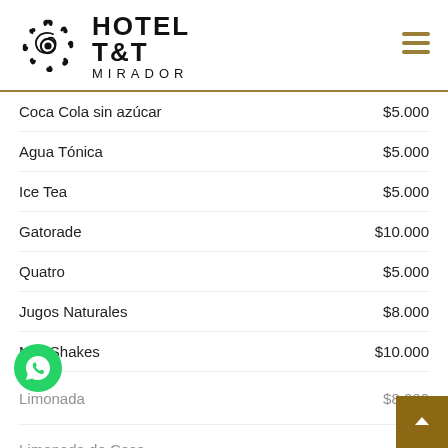[Figure (logo): Hotel T&T Mirador logo with sun/spiral decorative emblem and hotel name]
| Item | Price |
| --- | --- |
| Coca Cola sin azúcar | $5.000 |
| Agua Tónica | $5.000 |
| Ice Tea | $5.000 |
| Gatorade | $10.000 |
| Quatro | $5.000 |
| Jugos Naturales | $8.000 |
| Milk Shakes | $10.000 |
| Limonada | $8.000 |
| Limonada de Coco | $8.000 |